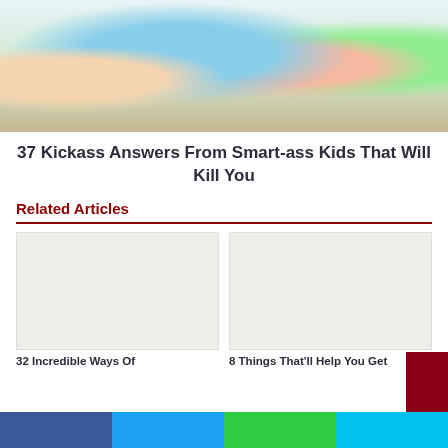[Figure (photo): Children sitting at desks in a classroom, writing with pencils. Multiple kids visible including a boy with blond hair, a girl in teal shirt holding a pencil, a girl with glasses, and another child in green.]
37 Kickass Answers From Smart-ass Kids That Will Kill You
Related Articles
[Figure (photo): Placeholder image for related article thumbnail (left)]
32 Incredible Ways Of
[Figure (photo): Placeholder image for related article thumbnail (right)]
8 Things That'll Help You Get